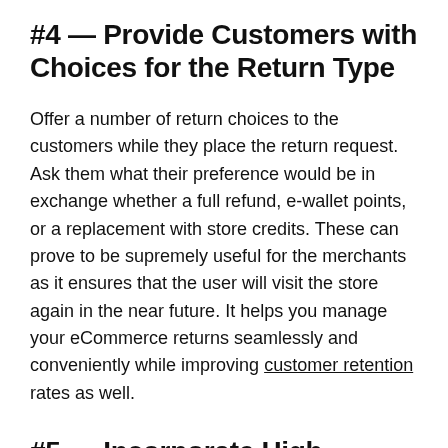#4 — Provide Customers with Choices for the Return Type
Offer a number of return choices to the customers while they place the return request. Ask them what their preference would be in exchange whether a full refund, e-wallet points, or a replacement with store credits. These can prove to be supremely useful for the merchants as it ensures that the user will visit the store again in the near future. It helps you manage your eCommerce returns seamlessly and conveniently while improving customer retention rates as well.
#5 — Incorporate High-Quality